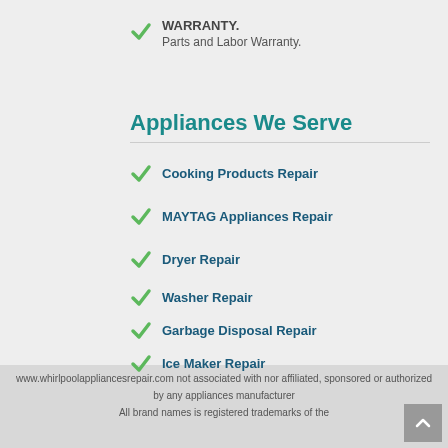WARRANTY. Parts and Labor Warranty.
Appliances We Serve
Cooking Products Repair
MAYTAG Appliances Repair
Dryer Repair
Washer Repair
Garbage Disposal Repair
Ice Maker Repair
Refrigerator Repair
www.whirlpoolappliancesrepair.com not associated with nor affiliated, sponsored or authorized by any appliances manufacturer
All brand names is registered trademarks of the